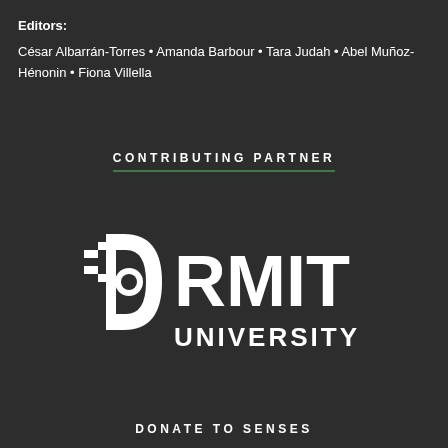Editors:
César Albarrán-Torres • Amanda Barbour • Tara Judah • Abel Muñoz-Hénonin • Fiona Villella
CONTRIBUTING PARTNER
[Figure (logo): RMIT University logo — white D-shaped arrow/plug icon on left, bold white text 'RMIT' on right, and 'UNIVERSITY' below in white uppercase letters, on dark background]
DONATE TO SENSES